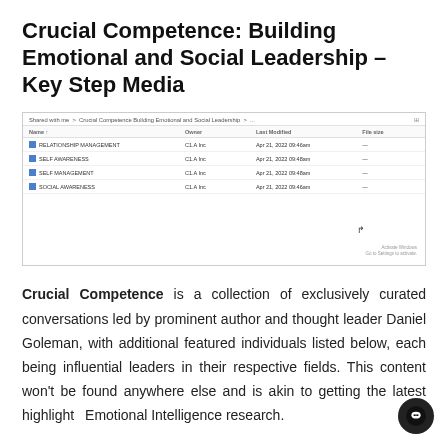Crucial Competence: Building Emotional and Social Leadership – Key Step Media
[Figure (screenshot): Screenshot of a Google Drive folder named 'Crucial Competence Building Emotional and Social Leadership' showing four subfolders: RELATIONSHIP MANAGEMENT, SELF AWARENESS, SELF MANAGEMENT, SOCIAL AWARENESS, each with owner listed as C1.A Inc, last modified Apr 21, 2022, and file size ~C1.A Inc.]
Crucial Competence is a collection of exclusively curated conversations led by prominent author and thought leader Daniel Goleman, with additional featured individuals listed below, each being influential leaders in their respective fields. This content won't be found anywhere else and is akin to getting the latest highlights Emotional Intelligence research.